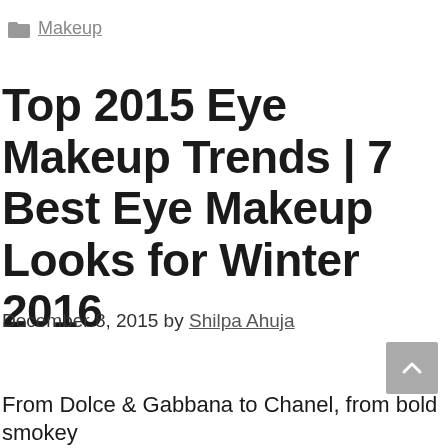Makeup
Top 2015 Eye Makeup Trends | 7 Best Eye Makeup Looks for Winter 2016
December 8, 2015 by Shilpa Ahuja
From Dolce & Gabbana to Chanel, from bold smokey